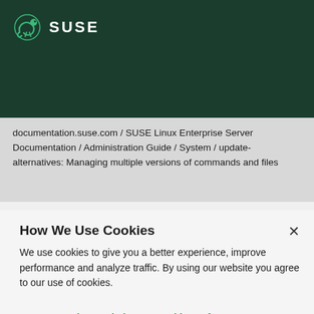SUSE
documentation.suse.com / SUSE Linux Enterprise Server Documentation / Administration Guide / System / update-alternatives: Managing multiple versions of commands and files
How We Use Cookies
We use cookies to give you a better experience, improve performance and analyze traffic. By using our website you agree to our use of cookies.
View and change cookie preferences